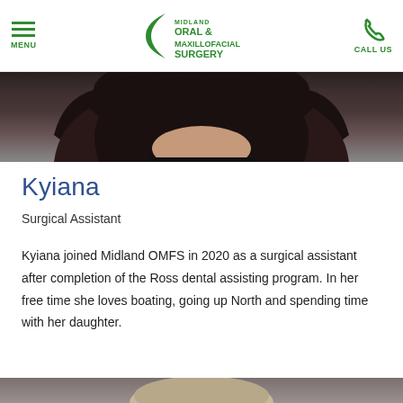MENU | Midland Oral & Maxillofacial Surgery | CALL US
[Figure (photo): Portrait photo of Kyiana, a woman with long dark hair wearing a black top, photographed against a gray background. The bottom portion of the photo is visible.]
Kyiana
Surgical Assistant
Kyiana joined Midland OMFS in 2020 as a surgical assistant after completion of the Ross dental assisting program. In her free time she loves boating, going up North and spending time with her daughter.
[Figure (photo): Bottom portion of another staff member's portrait photo, showing the top of a person's head with light-colored hair against a gray background.]